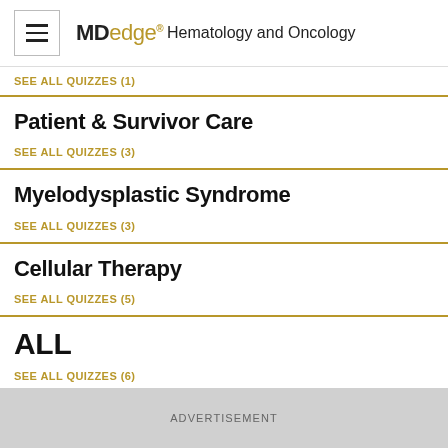MDedge® Hematology and Oncology
SEE ALL QUIZZES (1)
Patient & Survivor Care
SEE ALL QUIZZES (3)
Myelodysplastic Syndrome
SEE ALL QUIZZES (3)
Cellular Therapy
SEE ALL QUIZZES (5)
ALL
SEE ALL QUIZZES (6)
ADVERTISEMENT